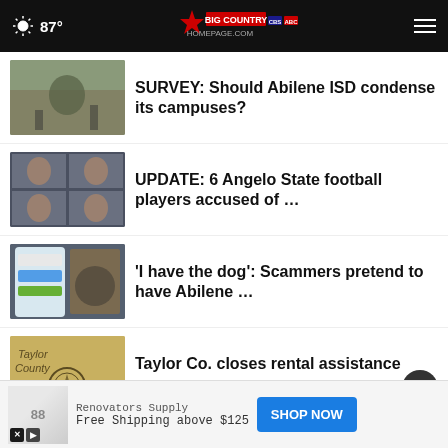87° Big Country Homepage
SURVEY: Should Abilene ISD condense its campuses?
UPDATE: 6 Angelo State football players accused of …
'I have the dog': Scammers pretend to have Abilene …
Taylor Co. closes rental assistance apps
Six Angelo State University football players arrested …
GALLERY: Crosstown Showdown pep
Renovators Supply
Free Shipping above $125
SHOP NOW